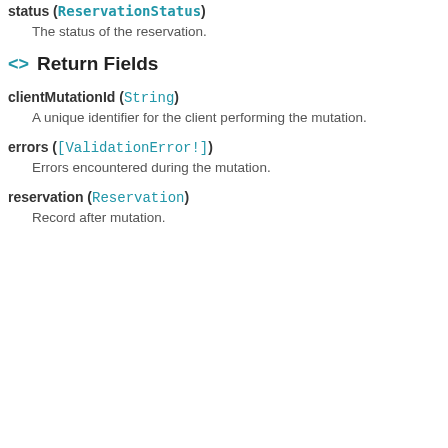status (ReservationStatus)
The status of the reservation.
Return Fields
clientMutationId (String)
A unique identifier for the client performing the mutation.
errors ([ValidationError!])
Errors encountered during the mutation.
reservation (Reservation)
Record after mutation.